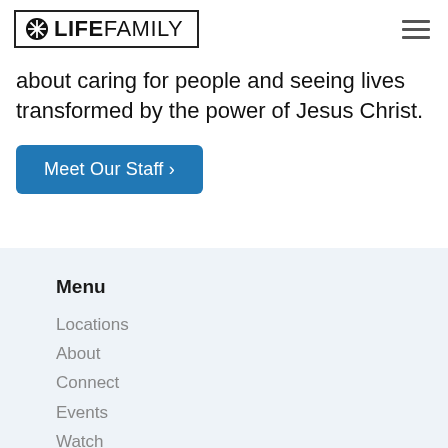[Figure (logo): Life Family church logo with snowflake/asterisk icon inside a rectangular border, bold LIFE followed by regular FAMILY text]
about caring for people and seeing lives transformed by the power of Jesus Christ.
Meet Our Staff >
Menu
Locations
About
Connect
Events
Watch
Give